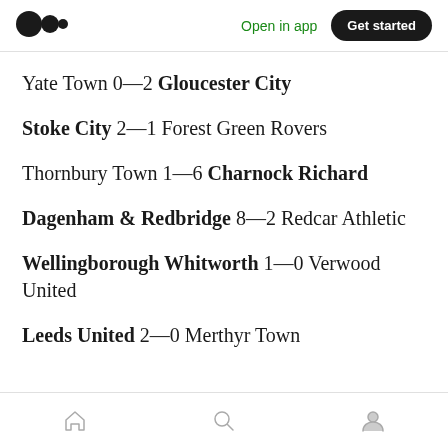Open in app | Get started
Yate Town 0—2 Gloucester City
Stoke City 2—1 Forest Green Rovers
Thornbury Town 1—6 Charnock Richard
Dagenham & Redbridge 8—2 Redcar Athletic
Wellingborough Whitworth 1—0 Verwood United
Leeds United 2—0 Merthyr Town
Home | Search | Profile